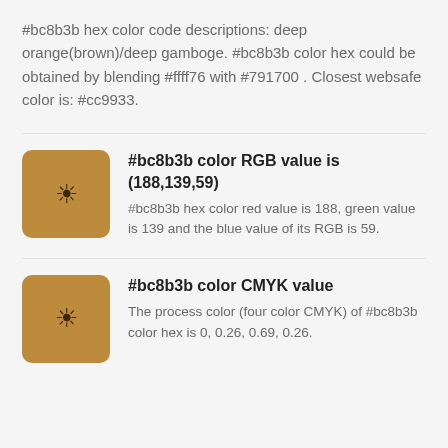#bc8b3b hex color code descriptions: deep orange(brown)/deep gamboge. #bc8b3b color hex could be obtained by blending #ffff76 with #791700 . Closest websafe color is: #cc9933.
#bc8b3b color RGB value is (188,139,59)
#bc8b3b hex color red value is 188, green value is 139 and the blue value of its RGB is 59.
#bc8b3b color CMYK value
The process color (four color CMYK) of #bc8b3b color hex is 0, 0.26, 0.69, 0.26.